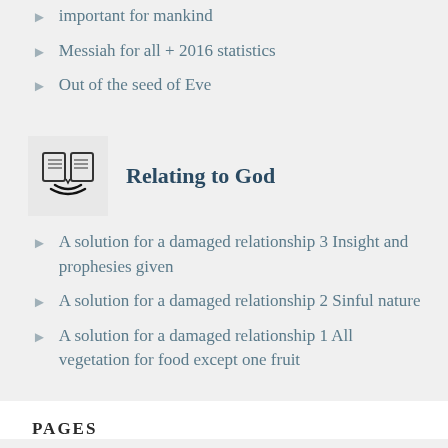important for mankind
Messiah for all + 2016 statistics
Out of the seed of Eve
Relating to God
A solution for a damaged relationship 3 Insight and prophesies given
A solution for a damaged relationship 2 Sinful nature
A solution for a damaged relationship 1 All vegetation for food except one fruit
PAGES